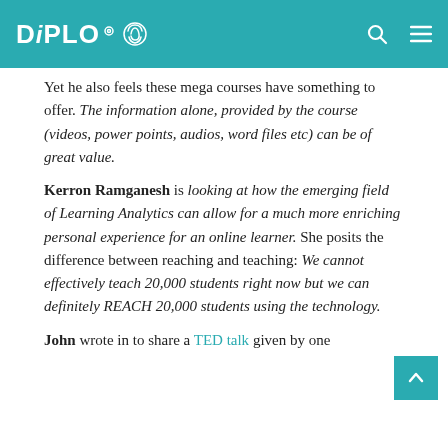DIPLO
Yet he also feels these mega courses have something to offer. The information alone, provided by the course (videos, power points, audios, word files etc) can be of great value.
Kerron Ramganesh is looking at how the emerging field of Learning Analytics can allow for a much more enriching personal experience for an online learner. She posits the difference between reaching and teaching: We cannot effectively teach 20,000 students right now but we can definitely REACH 20,000 students using the technology.
John wrote in to share a TED talk given by one